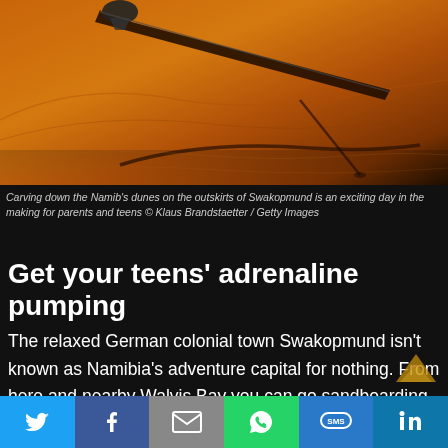[Figure (photo): Sandboarding on the orange-red dunes of the Namib desert near Swakopmund; close-up of a board carving through sand with shadow visible]
Carving down the Namib's dunes on the outskirts of Swakopmund is an exciting day in the making for parents and teens  © Klaus Brandstaetter / Getty Images
Get your teens' adrenaline pumping
The relaxed German colonial town Swakopmund isn't known as Namibia's adventure capital for nothing. From here and nearby Walvis Bay you can go sandboarding, skydiving, quad biking, sailing, surfing, kayaking, fishing… you name it, you can do it. It's the perfect bribe for the teen who may be accompanying the family somewhat reluctantly. And if you need further incentives, when your heart and stomach have returned to base you can enjoy some excellent coffee and